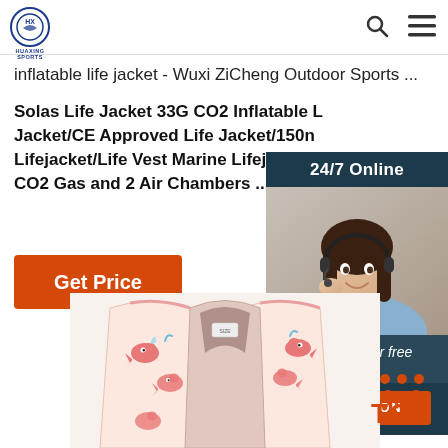HUAXING SPORTS [logo] | search icon | menu icon
inflatable life jacket - Wuxi ZiCheng Outdoor Sports ...
Solas Life Jacket 33G CO2 Inflatable Life Jacket/CE Approved Life Jacket/150n Lifejacket/Life Vest Marine Lifejacket with CO2 Gas and 2 Air Chambers ...
[Figure (other): Orange 'Get Price' button]
[Figure (photo): Customer service chat widget showing a woman with headset, '24/7 Online' header, 'Click here for free chat!' text, and orange QUOTATION button]
[Figure (photo): Child life jacket with pink whale pattern]
[Figure (other): Orange TOP navigation button with dots]